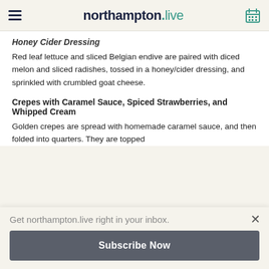northampton.live
Honey Cider Dressing
Red leaf lettuce and sliced Belgian endive are paired with diced melon and sliced radishes, tossed in a honey/cider dressing, and sprinkled with crumbled goat cheese.
Crepes with Caramel Sauce, Spiced Strawberries, and Whipped Cream
Golden crepes are spread with homemade caramel sauce, and then folded into quarters. They are topped
Get northampton.live right in your inbox.
Subscribe Now